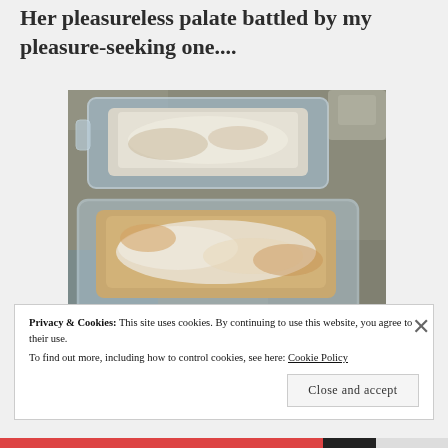Her pleasureless palate battled by my pleasure-seeking one....
[Figure (photo): Two glass baking dishes side by side on a granite counter, each containing a loaf coated in a white flour or powdered sugar topping. The top dish has a white-coated loaf; the bottom dish has a browner, more golden loaf with white powdery coating.]
Privacy & Cookies: This site uses cookies. By continuing to use this website, you agree to their use.
To find out more, including how to control cookies, see here: Cookie Policy
Close and accept